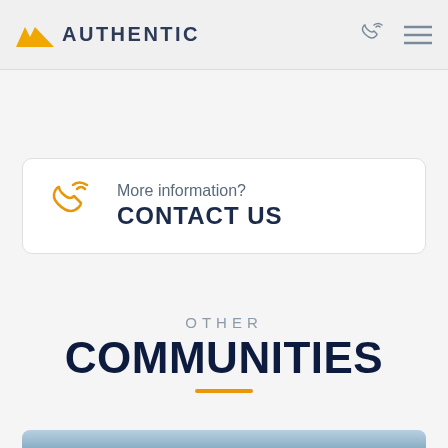AUTHENTIC
More information? CONTACT US
OTHER COMMUNITIES